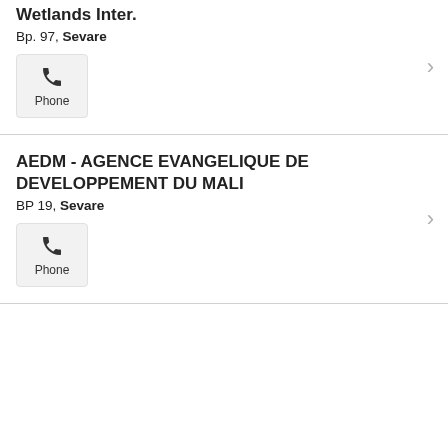Wetlands Inter.
Bp. 97, Sevare
Phone
AEDM - AGENCE EVANGELIQUE DE DEVELOPPEMENT DU MALI
BP 19, Sevare
Phone